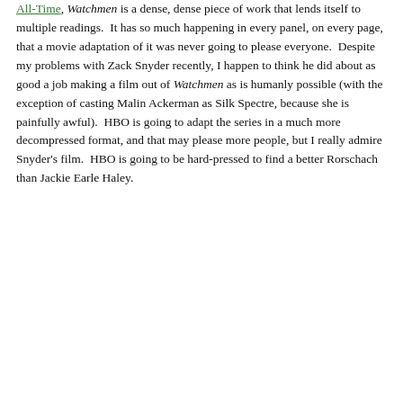All-Time, Watchmen is a dense, dense piece of work that lends itself to multiple readings. It has so much happening in every panel, on every page, that a movie adaptation of it was never going to please everyone. Despite my problems with Zack Snyder recently, I happen to think he did about as good a job making a film out of Watchmen as is humanly possible (with the exception of casting Malin Ackerman as Silk Spectre, because she is painfully awful). HBO is going to adapt the series in a much more decompressed format, and that may please more people, but I really admire Snyder's film. HBO is going to be hard-pressed to find a better Rorschach than Jackie Earle Haley.